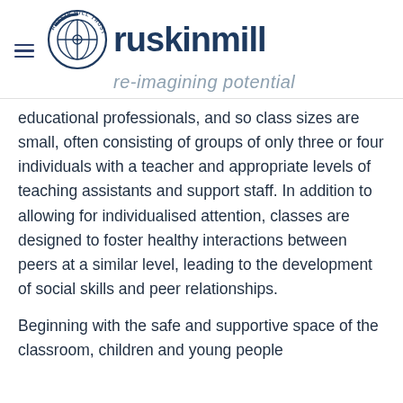[Figure (logo): Ruskin Mill Trust logo with circular emblem and text 're-imagining potential']
educational professionals, and so class sizes are small, often consisting of groups of only three or four individuals with a teacher and appropriate levels of teaching assistants and support staff. In addition to allowing for individualised attention, classes are designed to foster healthy interactions between peers at a similar level, leading to the development of social skills and peer relationships.
Beginning with the safe and supportive space of the classroom, children and young people